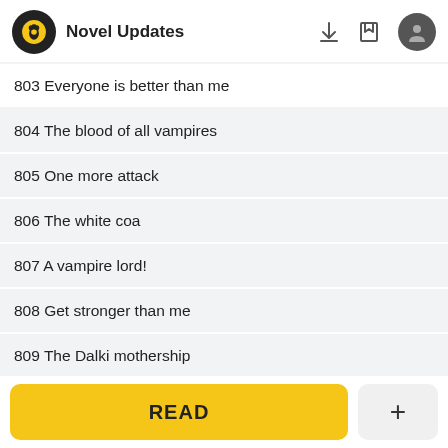Novel Updates
803 Everyone is better than me
804 The blood of all vampires
805 One more attack
806 The white coa
807 A vampire lord!
808 Get stronger than me
809 The Dalki mothership
810 Missing person
READ
+